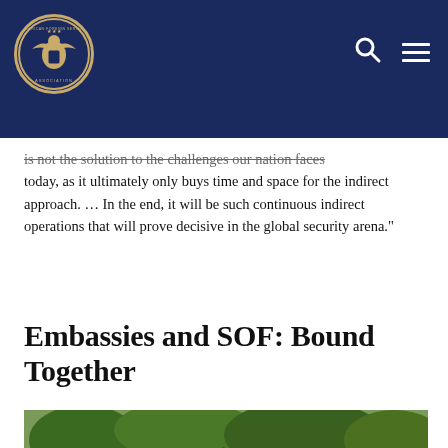American Foreign Service Association header with logo, search icon, and menu icon
is not the solution to the challenges our nation faces today, as it ultimately only buys time and space for the indirect approach. … In the end, it will be such continuous indirect operations that will prove decisive in the global security arena."
Embassies and SOF: Bound Together
[Figure (photo): Military personnel in camouflage uniforms holding rifles, including soldiers with African features and a caucasian soldier wearing sunglasses inspecting a rifle, outdoors with green trees in the background.]